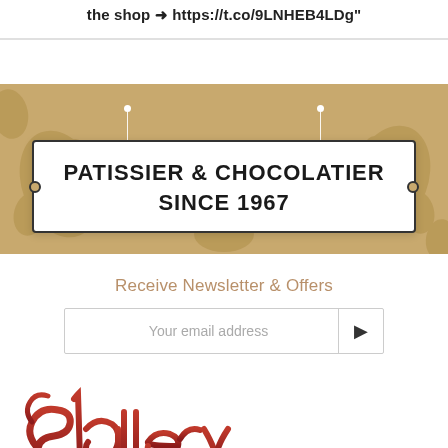the shop → https://t.co/9LNHEB4LDg"
[Figure (illustration): Decorative banner with tan/gold paisley background and a white hanging sign reading 'PATISSIER & CHOCOLATIER SINCE 1967' in bold uppercase text]
Receive Newsletter & Offers
[Figure (screenshot): Email input field with placeholder text 'Your email address' and a right-arrow submit button]
[Figure (logo): Slattery logo in red cursive/script lettering]